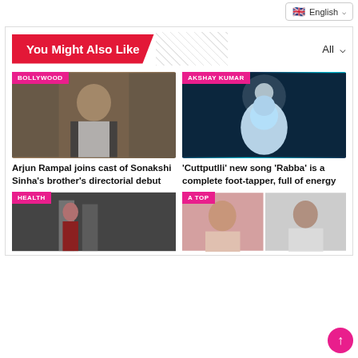🇬🇧 English
You Might Also Like
[Figure (photo): Photo of Arjun Rampal in a dark blazer standing in a room with curtains]
Arjun Rampal joins cast of Sonakshi Sinha's brother's directorial debut
[Figure (photo): Photo of Akshay Kumar in a white outfit dancing in a dark, neon-lit scene for Cuttputlli]
'Cuttputlli' new song 'Rabba' is a complete foot-tapper, full of energy
[Figure (photo): Health article image showing a person on a street]
[Figure (photo): A TOP article image showing a woman and a man with sunglasses]